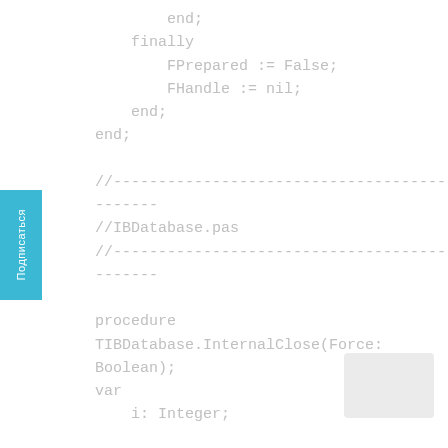end;
    finally
        FPrepared := False;
        FHandle := nil;
    end;
end;

//----------------------------------------
-------
//IBDatabase.pas
//----------------------------------------
-------

procedure
TIBDatabase.InternalClose(Force:
Boolean);
var
    i: Integer;